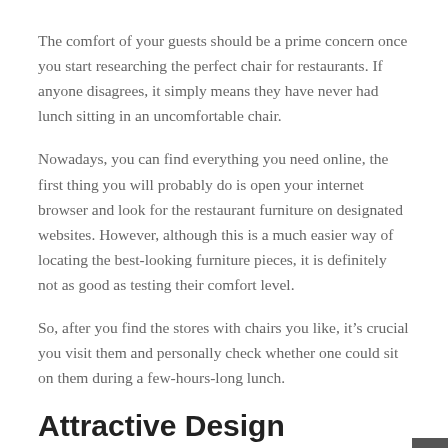The comfort of your guests should be a prime concern once you start researching the perfect chair for restaurants. If anyone disagrees, it simply means they have never had lunch sitting in an uncomfortable chair.
Nowadays, you can find everything you need online, the first thing you will probably do is open your internet browser and look for the restaurant furniture on designated websites. However, although this is a much easier way of locating the best-looking furniture pieces, it is definitely not as good as testing their comfort level.
So, after you find the stores with chairs you like, it’s crucial you visit them and personally check whether one could sit on them during a few-hours-long lunch.
Attractive Design